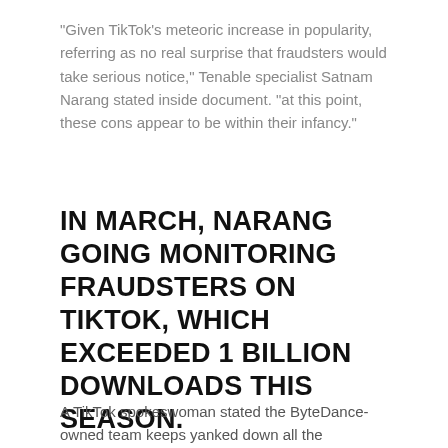"Given TikTok's meteoric increase in popularity, referring as no real surprise that fraudsters would take serious notice," Tenable specialist Satnam Narang stated inside document. "at this point, these cons appear to be within their infancy."
IN MARCH, NARANG GOING MONITORING FRAUDSTERS ON TIKTOK, WHICH EXCEEDED 1 BILLION DOWNLOADS THIS SEASON.
A TikTok spokeswoman stated the ByteDance-owned team keeps yanked down all the